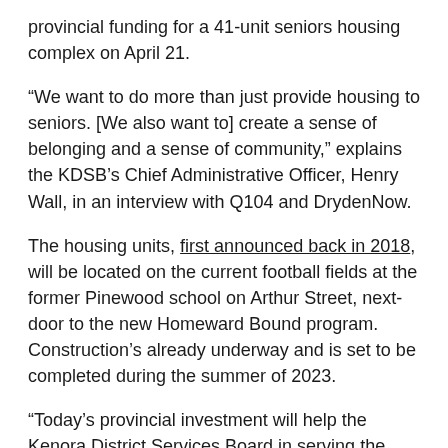provincial funding for a 41-unit seniors housing complex on April 21.
“We want to do more than just provide housing to seniors. [We also want to] create a sense of belonging and a sense of community,” explains the KDSB’s Chief Administrative Officer, Henry Wall, in an interview with Q104 and DrydenNow.
The housing units, first announced back in 2018, will be located on the current football fields at the former Pinewood school on Arthur Street, next-door to the new Homeward Bound program. Construction’s already underway and is set to be completed during the summer of 2023.
“Today’s provincial investment will help the Kenora District Services Board in serving the needs of seniors and elders, ensuring more community members will have a safe,